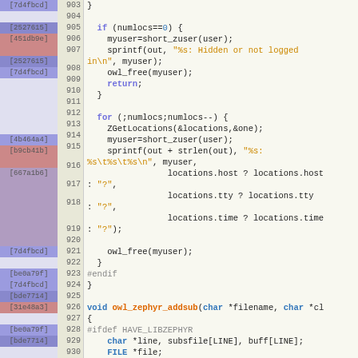[Figure (screenshot): Source code viewer showing C code lines 903-930 with git blame annotations on the left side. Blame hashes shown in colored blocks, line numbers in a gutter, and syntax-highlighted C code on the right.]